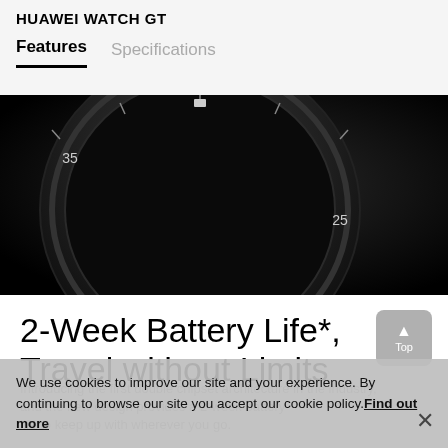HUAWEI WATCH GT
Features   Specifications
[Figure (photo): Close-up dark photo of a Huawei Watch GT smartwatch face showing dial markings 25, 30, 35 on a black background]
2-Week Battery Life*, Travel without Limits
We use cookies to improve our site and your experience. By continuing to browse our site you accept our cookie policy. Find out more